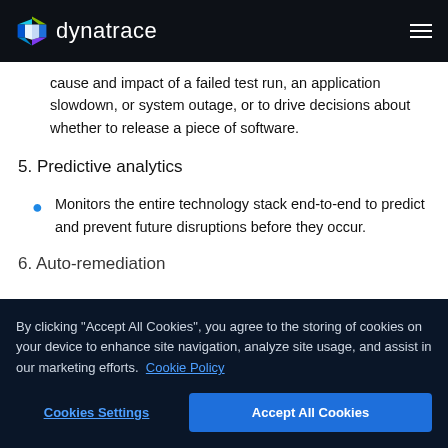dynatrace
cause and impact of a failed test run, an application slowdown, or system outage, or to drive decisions about whether to release a piece of software.
5. Predictive analytics
Monitors the entire technology stack end-to-end to predict and prevent future disruptions before they occur.
6. Auto-remediation
By clicking "Accept All Cookies", you agree to the storing of cookies on your device to enhance site navigation, analyze site usage, and assist in our marketing efforts. Cookie Policy
Cookies Settings | Accept All Cookies